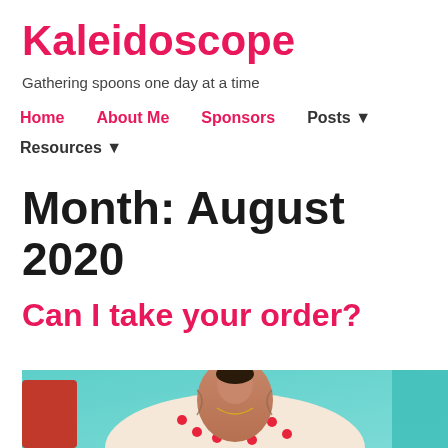Kaleidoscope
Gathering spoons one day at a time
Home
About Me
Sponsors
Posts ▼
Resources ▼
Month: August 2020
Can I take your order?
[Figure (photo): A person wearing a white dress with red cherry print, visible tattoos on their arms, and a gold necklace, with a teal/turquoise background.]